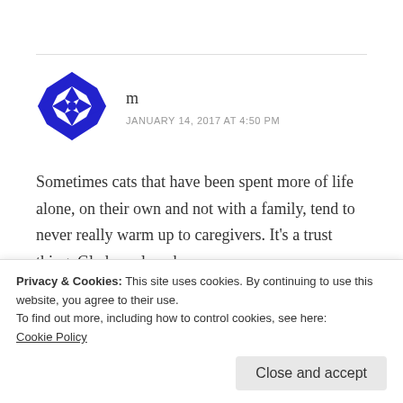[Figure (logo): Blue geometric/quilt-pattern avatar icon for commenter 'm']
m
JANUARY 14, 2017 AT 4:50 PM
Sometimes cats that have been spent more of life alone, on their own and not with a family, tend to never really warm up to caregivers. It's a trust thing. Glad you love her anyway.
Liked by 1 person
Privacy & Cookies: This site uses cookies. By continuing to use this website, you agree to their use.
To find out more, including how to control cookies, see here:
Cookie Policy